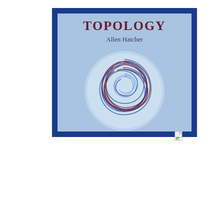[Figure (illustration): Cover of the book 'Topology' by Allen Hatcher, showing a blue and dark blue border with light blue background and a decorative spiral/torus knot graphic in blue and red lines inside a circle. Author name 'Allen Hatcher' appears below the title.]
[Figure (illustration): Cover of a German technical book 'Mehrfach-Telegraphen' by A. Kraatz, Postrat in Köln, part of the series 'Telegraphen- und Fernspreech-Technik', orange background with black text and a circular publisher's logo at the bottom.]